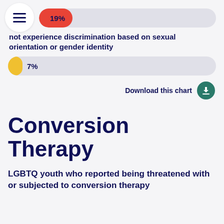[Figure (bar-chart): not experience discrimination based on sexual orientation or gender identity]
Download this chart
Conversion Therapy
LGBTQ youth who reported being threatened with or subjected to conversion therapy